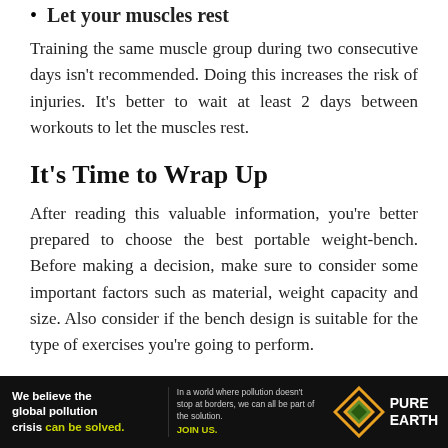Let your muscles rest
Training the same muscle group during two consecutive days isn't recommended. Doing this increases the risk of injuries. It's better to wait at least 2 days between workouts to let the muscles rest.
It's Time to Wrap Up
After reading this valuable information, you're better prepared to choose the best portable weight-bench. Before making a decision, make sure to consider some important factors such as material, weight capacity and size. Also consider if the bench design is suitable for the type of exercises you're going to perform.
If this is your first time using a weight bench, make sure to follow each of our tips for beginners. That way you'll avoid your common injuries and you'll get the best results. Also
[Figure (infographic): Pure Earth advertisement banner: 'We believe the global pollution crisis can be solved.' with tagline about pollution not stopping at borders and JOIN US call to action, Pure Earth logo on right.]